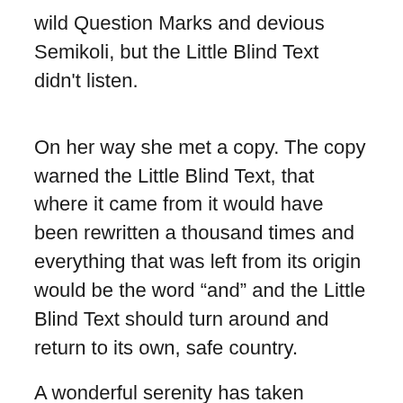wild Question Marks and devious Semikoli, but the Little Blind Text didn't listen.
On her way she met a copy. The copy warned the Little Blind Text, that where it came from it would have been rewritten a thousand times and everything that was left from its origin would be the word “and” and the Little Blind Text should turn around and return to its own, safe country.
A wonderful serenity has taken possession of my entire soul, like these sweet mornings of spring which I enjoy with my whole heart. I am alone, and feel the charm of existence in this spot, which was created for the bliss of souls like mine. I am so happy, my dear friend, so absorbed in the exquisite